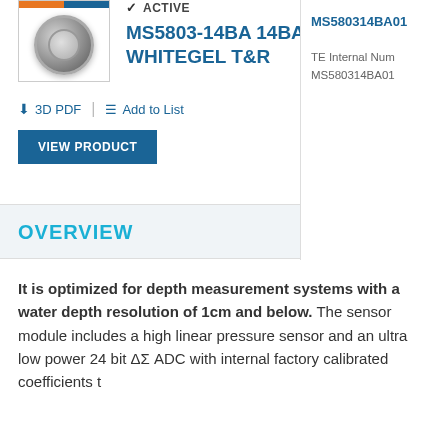[Figure (photo): Product photo of MS5803-14BA pressure sensor module, circular metallic sensor on blue background, with orange and blue stripe at top of image box]
✓ ACTIVE
MS5803-14BA 14BAR WHITEGEL T&R
MS580314BA01
TE Internal Number MS580314BA01
3D PDF | Add to List
VIEW PRODUCT
From $33,440
In-Stock
OVERVIEW
It is optimized for depth measurement systems with a water depth resolution of 1cm and below. The sensor module includes a high linear pressure sensor and an ultra low power 24 bit ΔΣ ADC with internal factory calibrated coefficients t…